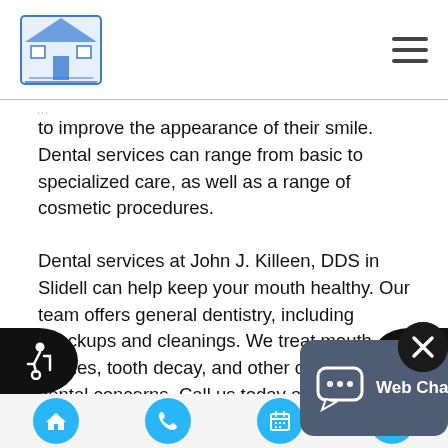[Figure (logo): Dental practice logo - small building/house illustration in blue]
to improve the appearance of their smile. Dental services can range from basic to specialized care, as well as a range of cosmetic procedures.
Dental services at John J. Killeen, DDS in Slidell can help keep your mouth healthy. Our team offers general dentistry, including checkups and cleanings. We treat mouth injuries, tooth decay, and other common dental concerns. Call us today at (985) 570-9103 to schedule an appointment and learn more about our services.
[Figure (screenshot): Web Chat button overlay with chat bubble icon and text 'Web Chat' on a dark blue-grey background]
[Figure (infographic): Bottom navigation bar with four circular blue buttons: home, phone, calendar, and location pin icons. Black accessibility bar with wheelchair icon on left and globe icon on right.]